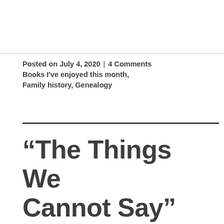Posted on July 4, 2020 | 4 Comments Books I've enjoyed this month, Family history, Genealogy
“The Things We Cannot Say”